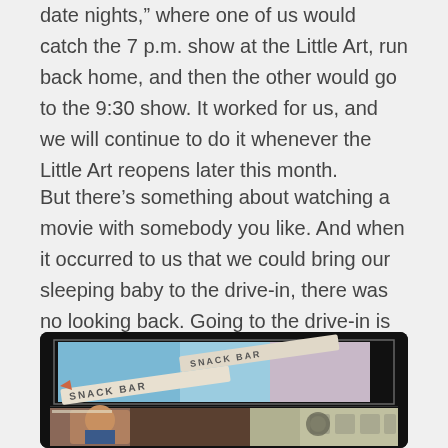date nights,” where one of us would catch the 7 p.m. show at the Little Art, run back home, and then the other would go to the 9:30 show. It worked for us, and we will continue to do it whenever the Little Art reopens later this month.
But there’s something about watching a movie with somebody you like. And when it occurred to us that we could bring our sleeping baby to the drive-in, there was no looking back. Going to the drive-in is now a summer staple in our household.
[Figure (photo): A composite photo showing a drive-in movie screen displaying a snack bar advertisement with the words 'SNACK BAR', and below it a collage of photos at the drive-in.]